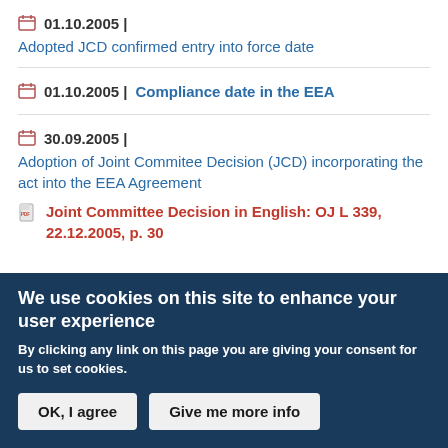01.10.2005 | Adopted JCD confirmed entry into force date
01.10.2005 | Compliance date in the EEA
30.09.2005 | Adoption of Joint Commitee Decision (JCD) incorporating the act into the EEA Agreement
Joint Committee Decision in English: OJ L 339, 22.12.2005, p. 30
We use cookies on this site to enhance your user experience
By clicking any link on this page you are giving your consent for us to set cookies.
OK, I agree | Give me more info